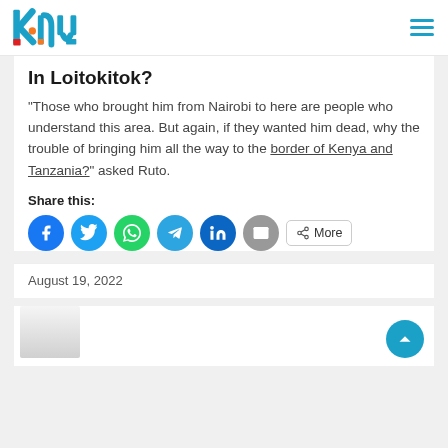knu logo + hamburger menu
In Loitokitok?
“Those who brought him from Nairobi to here are people who understand this area. But again, if they wanted him dead, why the trouble of bringing him all the way to the border of Kenya and Tanzania?” asked Ruto.
Share this:
August 19, 2022